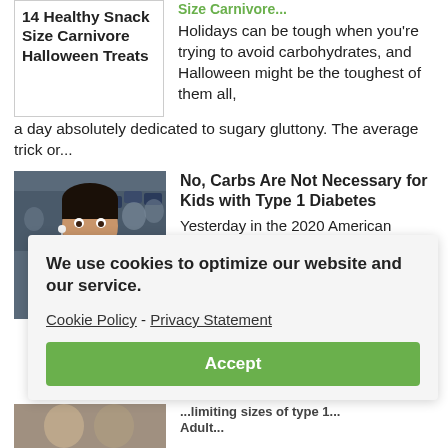14 Healthy Snack Size Carnivore Halloween Treats
Size Carnivore... Holidays can be tough when you're trying to avoid carbohydrates, and Halloween might be the toughest of them all, a day absolutely dedicated to sugary gluttony. The average trick or...
[Figure (photo): Photo of a young person at what appears to be a conference or event, smiling, with others in background]
No, Carbs Are Not Necessary for Kids with Type 1 Diabetes
Yesterday in the 2020 American Diabetes Association's Scientific Sessions, Dr. Carmel Smart...
We use cookies to optimize our website and our service.
Cookie Policy - Privacy Statement
Accept
[Figure (photo): Partially visible photo at bottom of page]
...limiting sizes of type 1... Adult...